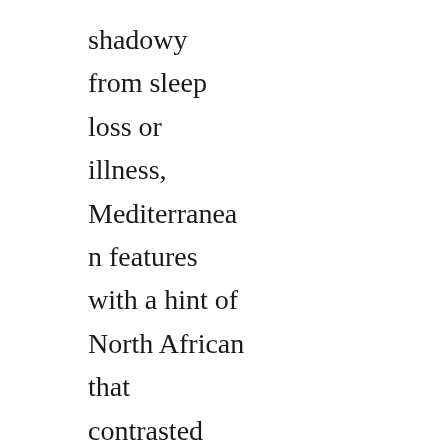shadowy from sleep loss or illness, Mediterranean features with a hint of North African that contrasted with the fish-belly white of the complexion, black hair